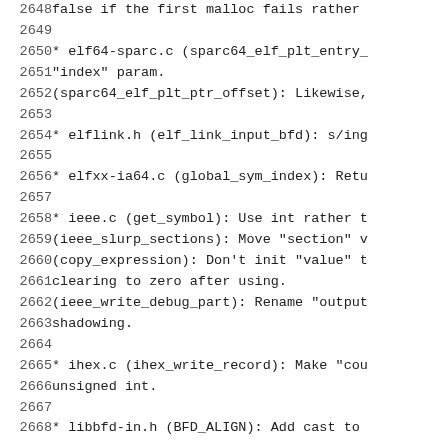2648    false if the first malloc fails rather
2649
2650    * elf64-sparc.c (sparc64_elf_plt_entry_
2651    "index" param.
2652    (sparc64_elf_plt_ptr_offset): Likewise,
2653
2654    * elflink.h (elf_link_input_bfd): s/ing
2655
2656    * elfxx-ia64.c (global_sym_index): Retu
2657
2658    * ieee.c (get_symbol): Use int rather t
2659    (ieee_slurp_sections): Move "section" v
2660    (copy_expression): Don't init "value" t
2661    clearing to zero after using.
2662    (ieee_write_debug_part): Rename "output
2663    shadowing.
2664
2665    * ihex.c (ihex_write_record): Make "cou
2666    unsigned int.
2667
2668    * libbfd-in.h (BFD_ALIGN): Add cast to
2669